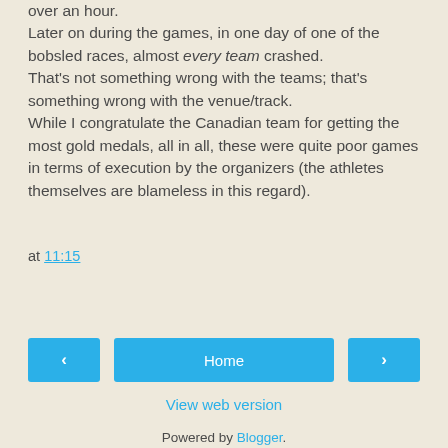over an hour.
Later on during the games, in one day of one of the bobsled races, almost every team crashed.
That's not something wrong with the teams; that's something wrong with the venue/track.
While I congratulate the Canadian team for getting the most gold medals, all in all, these were quite poor games in terms of execution by the organizers (the athletes themselves are blameless in this regard).
at 11:15
Share
< Home >
View web version
Powered by Blogger.